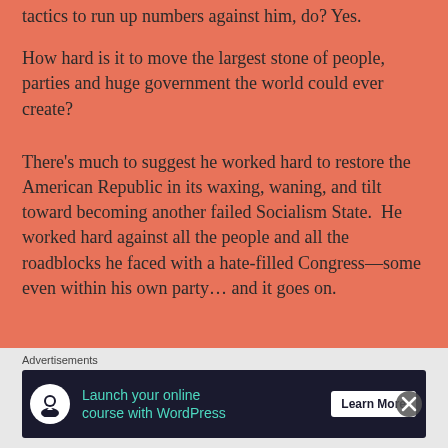tactics to run up numbers against him, do? Yes.
How hard is it to move the largest stone of people, parties and huge government the world could ever create?
There’s much to suggest he worked hard to restore the American Republic in its waxing, waning, and tilt toward becoming another failed Socialism State.  He worked hard against all the people and all the roadblocks he faced with a hate-filled Congress—some even within his own party… and it goes on.
Advertisements
[Figure (other): Advertisement banner for WordPress online course: 'Launch your online course with WordPress' with a Learn More button on dark background]